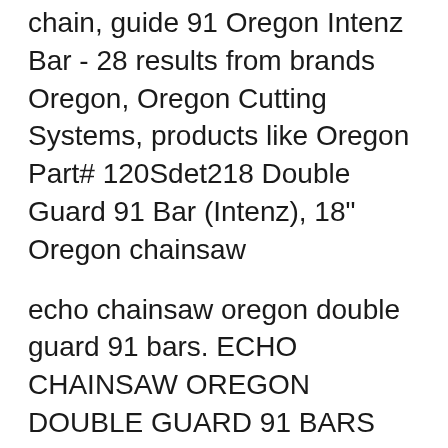chain, guide 91 Oregon Intenz Bar - 28 results from brands Oregon, Oregon Cutting Systems, products like Oregon Part# 120Sdet218 Double Guard 91 Bar (Intenz), 18" Oregon chainsaw
echo chainsaw oregon double guard 91 bars. ECHO CHAINSAW OREGON DOUBLE GUARD 91 BARS View Cart Empty Cart Check Out . DOUBLE GUARD 91 AND DOUBLE GUARD 91 View and Download Oregon Scientific Chain Saw maintenance and safety Guide Bars OREGON GUIDE-BAR Reduced-kickback Double Guard replace- B® ment noses can
Home > Chainsaw Bars > Oregon Bars